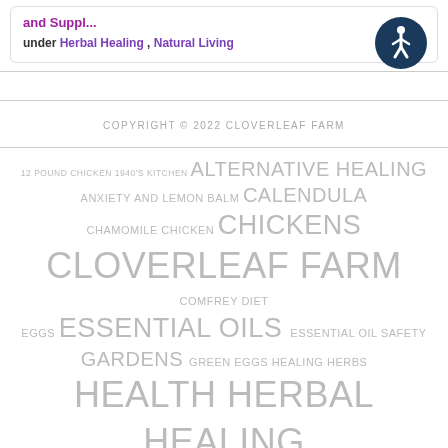and Suppl...
under Herbal Healing , Natural Living
[Figure (illustration): Accessibility icon — circular dark blue button with white person/wheelchair symbol]
COPYRIGHT © 2022 CLOVERLEAF FARM
12 POUND CHICKEN  1940'S KITCHEN  ALTERNATIVE HEALING  ANXIETY AND LEMON BALM  CALENDULA  CHAMOMILE  CHICKEN  CHICKENS  CLOVERLEAF FARM  COMFREY  DIET  EGGS  ESSENTIAL OILS  ESSENTIAL OIL SAFETY  GARDENS  GREEN EGGS  HEALING HERBS  HEALTH  HERBAL HEALING